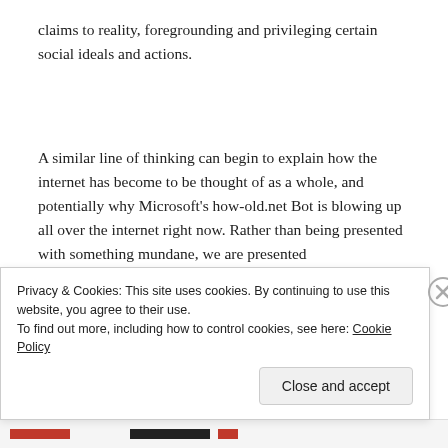claims to reality, foregrounding and privileging certain social ideals and actions.
A similar line of thinking can begin to explain how the internet has become to be thought of as a whole, and potentially why Microsoft's how-old.net Bot is blowing up all over the internet right now. Rather than being presented with something mundane, we are presented
Privacy & Cookies: This site uses cookies. By continuing to use this website, you agree to their use.
To find out more, including how to control cookies, see here: Cookie Policy
Close and accept